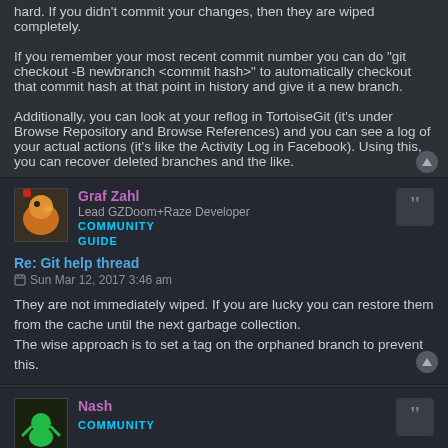hard. If you didn't commit your changes, then they are wiped completely.
If you remember your most recent commit number you can do "git checkout -B newbranch <commit hash>" to automatically checkout that commit hash at that point in history and give it a new branch.
Additionally, you can look at your reflog in TortoiseGit (it's under Browse Repository and Browse References) and you can see a log of your actual actions (it's like the Activity Log in Facebook). Using this, you can recover deleted branches and the like.
Graf Zahl
Lead GZDoom+Raze Developer
COMMUNITY GUIDE
Re: Git help thread
Sun Mar 12, 2017 3:46 am
They are not immediately wiped. If you are lucky you can restore them from the cache until the next garbage collection.
The wise approach is to set a tag on the orphaned branch to prevent this.
Nash
COMMUNITY